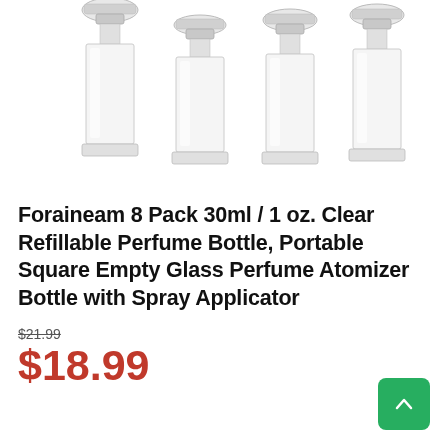[Figure (photo): Four clear glass square perfume atomizer bottles with silver spray tops, arranged side by side on a white background]
Foraineam 8 Pack 30ml / 1 oz. Clear Refillable Perfume Bottle, Portable Square Empty Glass Perfume Atomizer Bottle with Spray Applicator
$21.99 (strikethrough original price)
$18.99